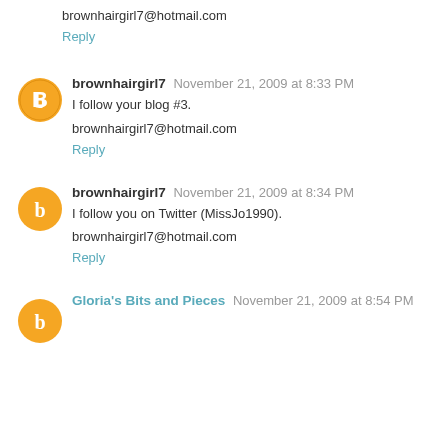brownhairgirl7@hotmail.com
Reply
brownhairgirl7  November 21, 2009 at 8:33 PM
I follow your blog #3.
brownhairgirl7@hotmail.com
Reply
brownhairgirl7  November 21, 2009 at 8:34 PM
I follow you on Twitter (MissJo1990).
brownhairgirl7@hotmail.com
Reply
Gloria's Bits and Pieces  November 21, 2009 at 8:54 PM